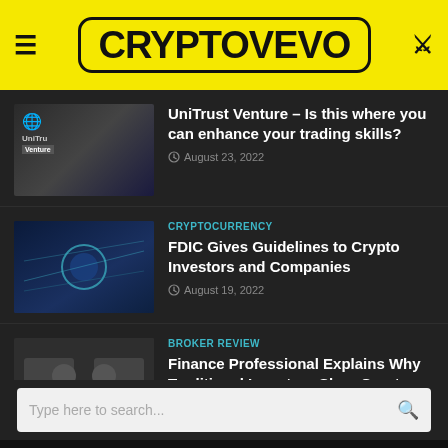CRYPTOVEVO
UniTrust Venture – Is this where you can enhance your trading skills?
August 23, 2022
CRYPTOCURRENCY
FDIC Gives Guidelines to Crypto Investors and Companies
August 19, 2022
BROKER REVIEW
Finance Professional Explains Why Traditional Investors Shun Crypto
August 18, 2022
© Copyright 2018.